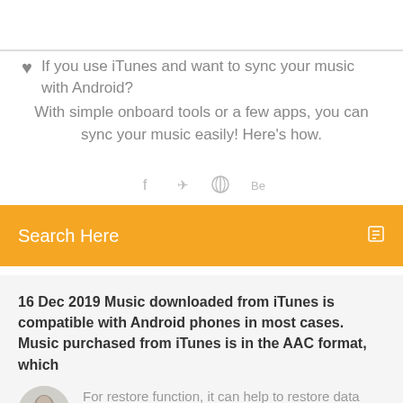If you use iTunes and want to sync your music with Android? With simple onboard tools or a few apps, you can sync your music easily! Here's how.
[Figure (infographic): Social sharing icons: Facebook, Twitter, and two others]
Search Here
16 Dec 2019 Music downloaded from iTunes is compatible with Android phones in most cases. Music purchased from iTunes is in the AAC format, which
For restore function, it can help to restore data from pc, iCloud, iTunes and iTunes Library and then transfer to the targeted phone. So if you are searching for a